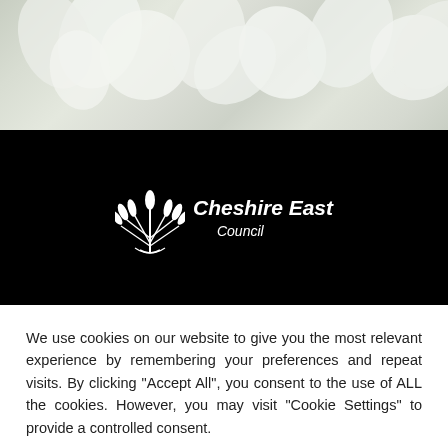[Figure (photo): White/cream floral photo banner at top of page — soft focus white flowers]
[Figure (logo): Cheshire East Council logo: white wheat sheaf emblem with italic bold text 'Cheshire East' and 'Council' on black background]
We use cookies on our website to give you the most relevant experience by remembering your preferences and repeat visits. By clicking "Accept All", you consent to the use of ALL the cookies. However, you may visit "Cookie Settings" to provide a controlled consent.
Cookie Settings
Accept All